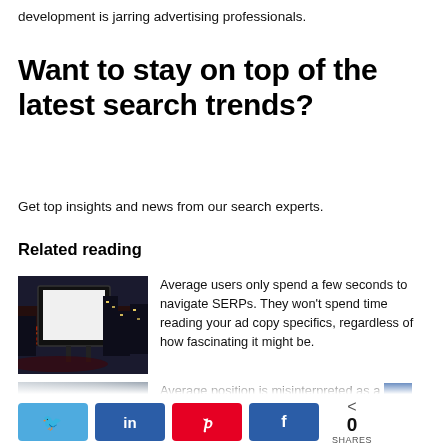development is jarring advertising professionals.
Want to stay on top of the latest search trends?
Get top insights and news from our search experts.
Related reading
[Figure (photo): Billboard display at night with city lights in background]
Average users only spend a few seconds to navigate SERPs. They won't spend time reading your ad copy specifics, regardless of how fascinating it might be.
[Figure (photo): Abstract blurred image, partially cut off]
Average position is misinterpreted as a